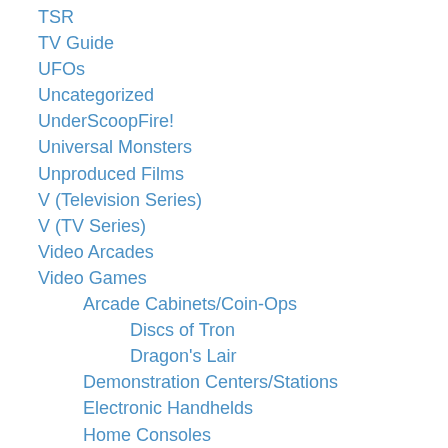TSR
TV Guide
UFOs
Uncategorized
UnderScoopFire!
Universal Monsters
Unproduced Films
V (Television Series)
V (TV Series)
Video Arcades
Video Games
Arcade Cabinets/Coin-Ops
Discs of Tron
Dragon's Lair
Demonstration Centers/Stations
Electronic Handhelds
Home Consoles
Video Game Art
Video Stores
Voltron